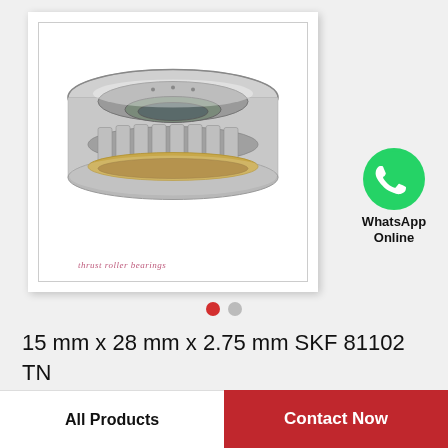[Figure (photo): Photograph of an SKF 81102 TN thrust roller bearing – a circular metallic bearing component with tapered rollers, shown in a white-bordered product image card]
thrust roller bearings
[Figure (logo): WhatsApp green circle icon with phone handset symbol]
WhatsApp Online
15 mm x 28 mm x 2.75 mm SKF 81102 TN Thrust Roller Bearing
All Products
Contact Now